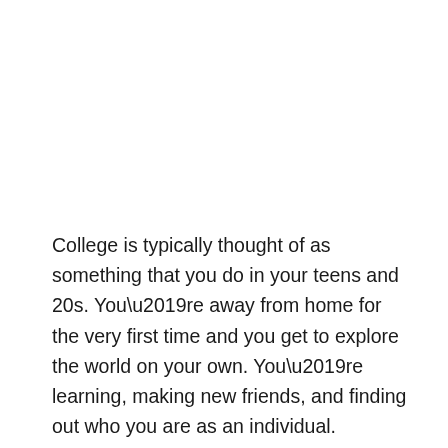College is typically thought of as something that you do in your teens and 20s. You’re away from home for the very first time and you get to explore the world on your own. You’re learning, making new friends, and finding out who you are as an individual.
It’s a part of life that more and more people are